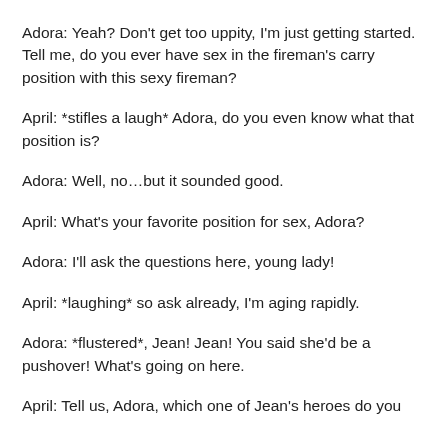Adora: Yeah? Don't get too uppity, I'm just getting started. Tell me, do you ever have sex in the fireman's carry position with this sexy fireman?
April:   *stifles a laugh* Adora, do you even know what that position is?
Adora:  Well, no…but it sounded good.
April:   What's your favorite position for sex, Adora?
Adora: I'll ask the questions here, young lady!
April:   *laughing* so ask already, I'm aging rapidly.
Adora: *flustered*, Jean! Jean! You said she'd be a pushover! What's going on here.
April:   Tell us, Adora, which one of Jean's heroes do you